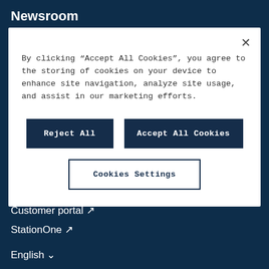Newsroom
By clicking “Accept All Cookies”, you agree to the storing of cookies on your device to enhance site navigation, analyze site usage, and assist in our marketing efforts.
Reject All
Accept All Cookies
Cookies Settings
Customer portal ↗
StationOne ↗
English ⌄